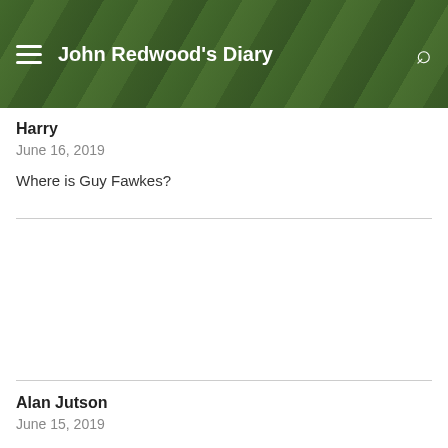John Redwood's Diary
Harry
June 16, 2019
Where is Guy Fawkes?
Alan Jutson
June 15, 2019
If they are concerned about democracy, how about a re run of the Peterborough by election, but this time without postal ballots.